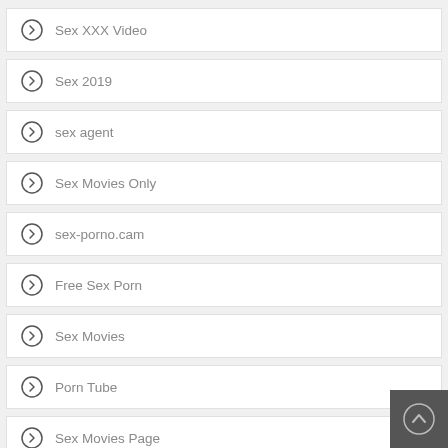Sex XXX Video
Sex 2019
sex agent
Sex Movies Only
sex-porno.cam
Free Sex Porn
Sex Movies
Porn Tube
Sex Movies Page